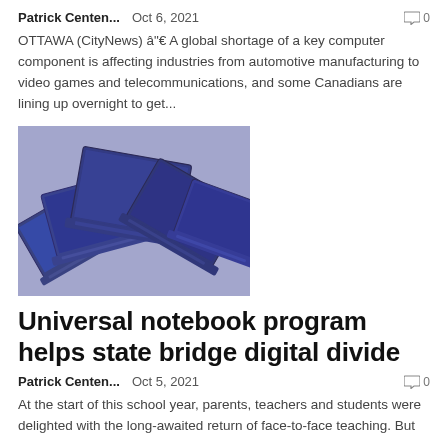Patrick Centen...   Oct 6, 2021   🗨 0
OTTAWA (CityNews) â"€ A global shortage of a key computer component is affecting industries from automotive manufacturing to video games and telecommunications, and some Canadians are lining up overnight to get...
[Figure (photo): Multiple blue-tinted laptop computers arranged overlapping each other viewed from above at an angle]
Universal notebook program helps state bridge digital divide
Patrick Centen...   Oct 5, 2021   🗨 0
At the start of this school year, parents, teachers and students were delighted with the long-awaited return of face-to-face teaching. But